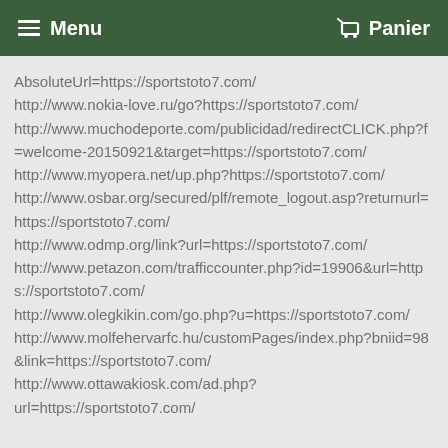Menu   Panier
AbsoluteUrl=https://sportstoto7.com/
http://www.nokia-love.ru/go?https://sportstoto7.com/
http://www.muchodeporte.com/publicidad/redirectCLICK.php?f=welcome-20150921&target=https://sportstoto7.com/
http://www.myopera.net/up.php?https://sportstoto7.com/
http://www.osbar.org/secured/plf/remote_logout.asp?returnurl=https://sportstoto7.com/
http://www.odmp.org/link?url=https://sportstoto7.com/
http://www.petazon.com/trafficcounter.php?id=19906&url=https://sportstoto7.com/
http://www.olegkikin.com/go.php?u=https://sportstoto7.com/
http://www.molfehervarfc.hu/customPages/index.php?bniid=98&link=https://sportstoto7.com/
http://www.ottawakiosk.com/ad.php?url=https://sportstoto7.com/